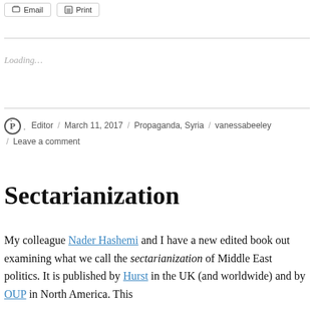Email  Print
Loading...
P  Editor / March 11, 2017 / Propaganda, Syria / vanessabeeley / Leave a comment
Sectarianization
My colleague Nader Hashemi and I have a new edited book out examining what we call the sectarianization of Middle East politics. It is published by Hurst in the UK (and worldwide) and by OUP in North America. This